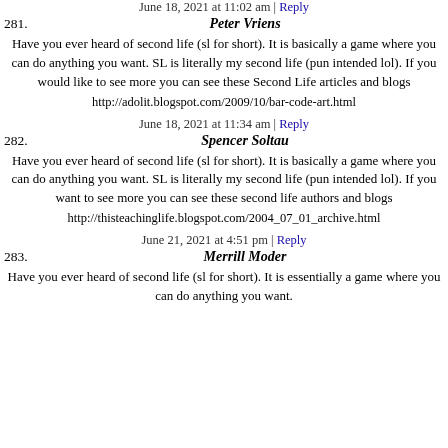June 18, 2021 at 11:02 am | Reply
281. Peter Vriens
Have you ever heard of second life (sl for short). It is basically a game where you can do anything you want. SL is literally my second life (pun intended lol). If you would like to see more you can see these Second Life articles and blogs
http://adolit.blogspot.com/2009/10/bar-code-art.html
June 18, 2021 at 11:34 am | Reply
282. Spencer Soltau
Have you ever heard of second life (sl for short). It is basically a game where you can do anything you want. SL is literally my second life (pun intended lol). If you want to see more you can see these second life authors and blogs
http://thisteachinglife.blogspot.com/2004_07_01_archive.html
June 21, 2021 at 4:51 pm | Reply
283. Merrill Moder
Have you ever heard of second life (sl for short). It is essentially a game where you can do anything you want.